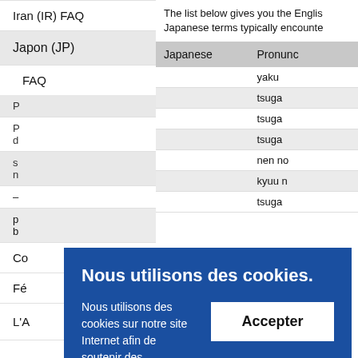Iran (IR) FAQ
Japon (JP)
FAQ
The list below gives you the English Japanese terms typically encountered
| Japanese | Pronunc |
| --- | --- |
|  | yaku |
|  | tsuga |
|  | tsuga |
|  | tsuga |
|  | nen no |
|  | kyuu n |
|  | tsuga |
Co
Fé
L'A
Nous utilisons des cookies. Nous utilisons des cookies sur notre site Internet afin de soutenir des fonctionnalités techniques qui améliorent votre expérience utilisateur. Nous utilisons également des fonctions d'analyse Web. Accédez à toutes les informations sur les cookies utilisés et sur la manière de les gérer.